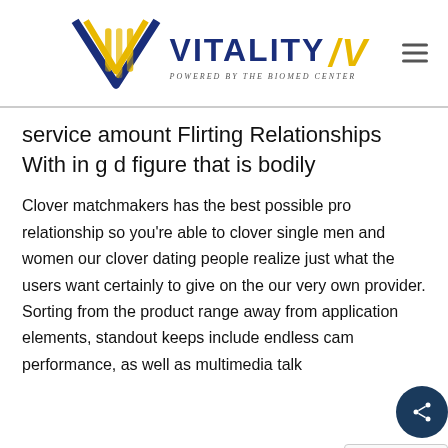[Figure (logo): Vitality IV logo — stylized DNA double helix in blue and gold on the left, text 'VITALITY IV' in dark blue bold uppercase with gold italic slash marks, subtitle 'POWERED BY THE BIOMED CENTER' in small caps italic below. Hamburger menu icon top right.]
service amount Flirting Relationships With in g d figure that is bodily
Clover matchmakers has the best possible pro relationship so you're able to clover single men and women our clover dating people realize just what the users want certainly to give on the our very own provider. Sorting from the product range away from application elements, standout keeps include endless cam performance, as well as multimedia talk